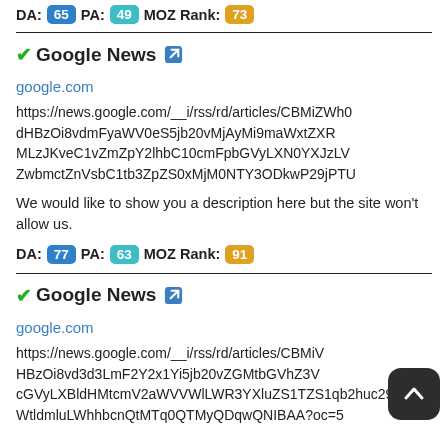DA: 65  PA: 49  MOZ Rank: 73
✓ Google News 🔗
google.com
https://news.google.com/__i/rss/rd/articles/CBMiZWh0dHBzOi8vdmFyaWV0eS5jb20vMjAyMi9maWxtZXRMLzJKveC1vZmZpY2lhbC10cmFpbGVyLXN0YXJzLVZwbmctZnVsbC1tb3ZpZS0xMjM0NTY3ODkwP29jPTU
We would like to show you a description here but the site won't allow us.
DA: 77  PA: 63  MOZ Rank: 91
✓ Google News 🔗
google.com
https://news.google.com/__i/rss/rd/articles/CBMiV...WtldmluLWhhbcnQtMTq0QTMyQDqwQNIBAA?oc=5